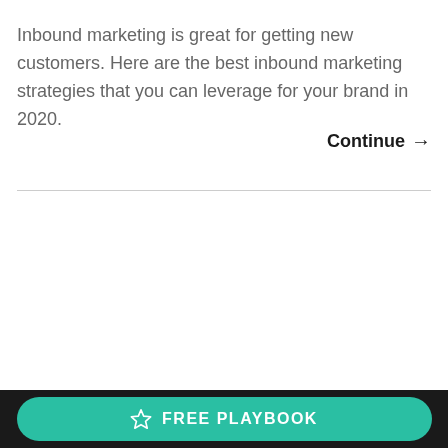Inbound marketing is great for getting new customers. Here are the best inbound marketing strategies that you can leverage for your brand in 2020.
Continue →
FREE PLAYBOOK